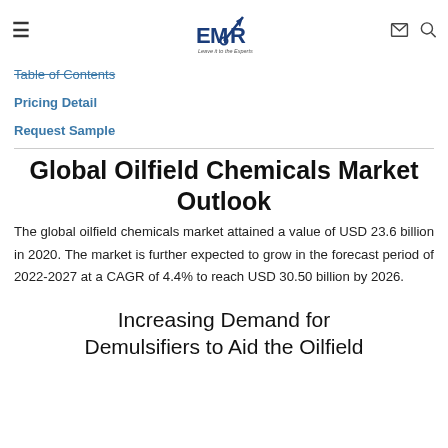EMR — Leave it to the Experts (logo)
Table of Contents
Pricing Detail
Request Sample
Global Oilfield Chemicals Market Outlook
The global oilfield chemicals market attained a value of USD 23.6 billion in 2020. The market is further expected to grow in the forecast period of 2022-2027 at a CAGR of 4.4% to reach USD 30.50 billion by 2026.
Increasing Demand for Demulsifiers to Aid the Oilfield